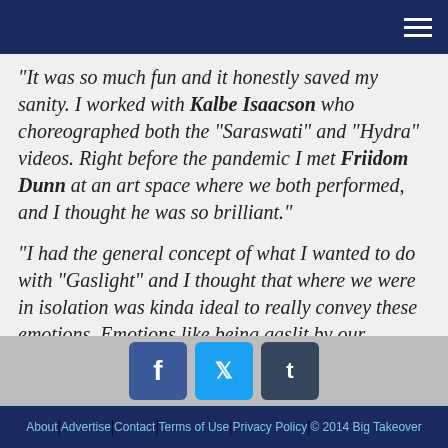≡
“It was so much fun and it honestly saved my sanity. I worked with Kalbe Isaacson who choreographed both the “Saraswati” and “Hydra” videos. Right before the pandemic I met Friidom Dunn at an art space where we both performed, and I thought he was so brilliant.”
“I had the general concept of what I wanted to do with “Gaslight” and I thought that where we were in isolation was kinda ideal to really convey these emotions. Emotions like being gaslit by our government, but also being in the confines of our spaces and really having to deal with our feelings a little bit more. So, I asked Kalbe and Friidom if they were interested in doing a project with me. We got on a couple zoom calls – the first we laid out the progression of the story and then the second time was more into the choreography. Kalbe filmed the choreography for us and
About | Advertise | Contact | Terms of Use | Privacy Policy | © 2014 Big Takeover